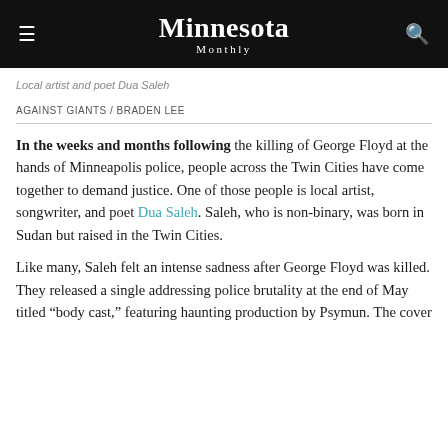Minnesota Monthly
Local artist and poet Dua Saleh
AGAINST GIANTS / BRADEN LEE
In the weeks and months following the killing of George Floyd at the hands of Minneapolis police, people across the Twin Cities have come together to demand justice. One of those people is local artist, songwriter, and poet Dua Saleh. Saleh, who is non-binary, was born in Sudan but raised in the Twin Cities.
Like many, Saleh felt an intense sadness after George Floyd was killed. They released a single addressing police brutality at the end of May titled “body cast,” featuring haunting production by Psymun. The cover art is a lit can of pepper spray, all Black American killed b